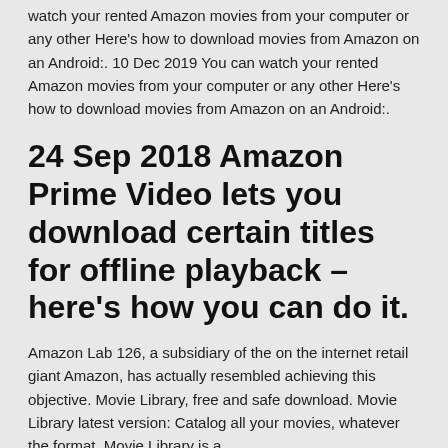watch your rented Amazon movies from your computer or any other Here's how to download movies from Amazon on an Android:. 10 Dec 2019 You can watch your rented Amazon movies from your computer or any other Here's how to download movies from Amazon on an Android:.
24 Sep 2018 Amazon Prime Video lets you download certain titles for offline playback – here's how you can do it.
Amazon Lab 126, a subsidiary of the on the internet retail giant Amazon, has actually resembled achieving this objective. Movie Library, free and safe download. Movie Library latest version: Catalog all your movies, whatever the format. Movie Library is a